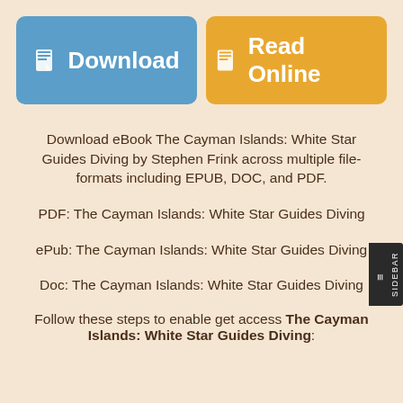[Figure (other): Two buttons: 'Download' (blue) and 'Read Online' (orange/yellow), each with a book icon]
Download eBook The Cayman Islands: White Star Guides Diving by Stephen Frink across multiple file-formats including EPUB, DOC, and PDF.
PDF: The Cayman Islands: White Star Guides Diving
ePub: The Cayman Islands: White Star Guides Diving
Doc: The Cayman Islands: White Star Guides Diving
Follow these steps to enable get access The Cayman Islands: White Star Guides Diving: